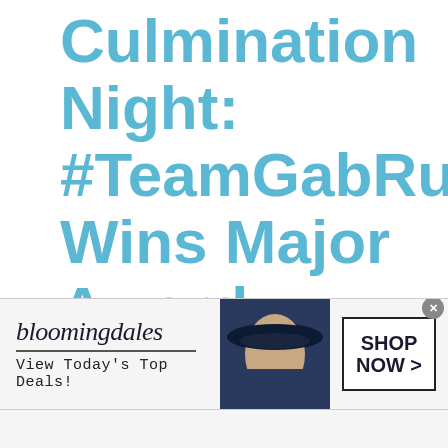Culmination Night: #TeamGabRu Wins Major Award
Rocky Chua   July 22, 2015   💬 0
[Figure (illustration): Social media share icons: Facebook (blue circle), Twitter (blue circle), Google+ (red circle), Pinterest (red circle)]
[Figure (screenshot): Bloomingdales advertisement banner: logo with italic text 'bloomingdales', tagline 'View Today's Top Deals!', image of woman in wide-brim navy hat, 'SHOP NOW >' button box, close X button in top right corner]